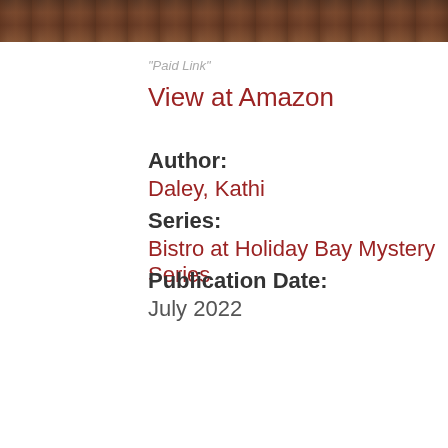[Figure (photo): A partial photograph showing a wooden structure or deck, appearing in a horizontal strip at the top of the page.]
"Paid Link"
View at Amazon
Author:
Daley, Kathi
Series:
Bistro at Holiday Bay Mystery Series
Publication Date:
July 2022